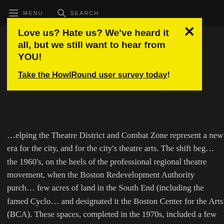MENU   SEARCH
Love us? Hate us? We've heard it all, but we still want to hear from YOU!

Take the HowlRound user survey today!
...elping the Theatre District and Combat Zone represent a new era for the city, and for the city's theatre arts. The shift began the 1960's, on the heels of the professional regional theatre movement, when the Boston Redevelopment Authority purchased a few acres of land in the South End (including the famed Cyclorama) and designated it the Boston Center for the Arts (BCA). These spaces, completed in the 1970s, included a few black box theatres that became hubs for small, flexible, local rental companies. Boston University and Harvard both welcomed professional LORT companies in the 80s. Finally, the post of City Censor was abolished in 198...